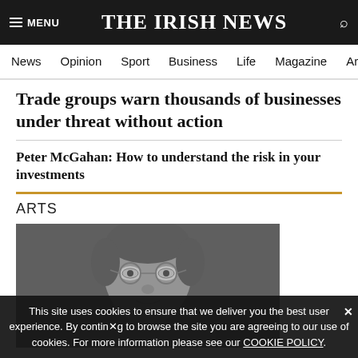THE IRISH NEWS
News  Opinion  Sport  Business  Life  Magazine  Arts
Trade groups warn thousands of businesses under threat without action
Peter McGahan: How to understand the risk in your investments
ARTS
[Figure (photo): Black and white photograph of a man wearing round glasses, looking upward, shown from shoulders up]
This site uses cookies to ensure that we deliver you the best user experience. By continuing to browse the site you are agreeing to our use of cookies. For more information please see our COOKIE POLICY.